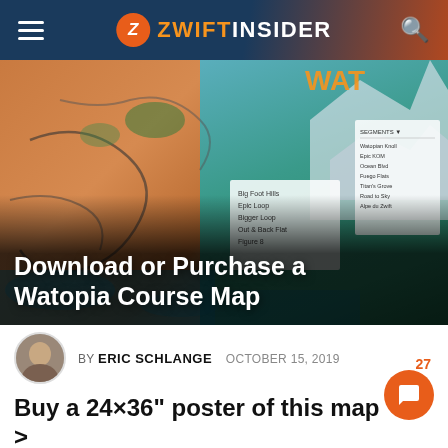ZWIFT INSIDER
[Figure (photo): Hero image showing colorful Watopia course map posters with route details and elevation data]
Download or Purchase a Watopia Course Map
BY ERIC SCHLANGE  OCTOBER 15, 2019
27
Buy a 24×36" poster of this map >